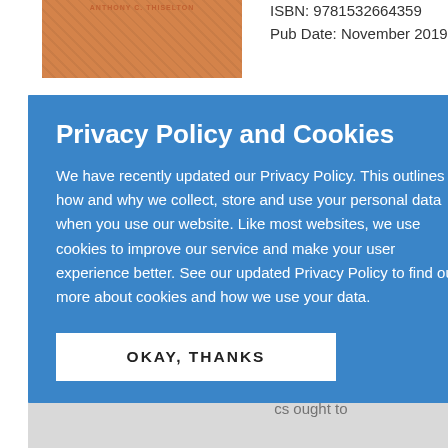[Figure (photo): Book cover with orange/salmon color and diagonal texture pattern, author name at top]
ISBN: 9781532664359
Pub Date: November 2019
rback
ade Books

volume,
iselton
mpassioned
loser
the
of
cs. Emilio
atives
at
cs ought to
Privacy Policy and Cookies
We have recently updated our Privacy Policy. This outlines how and why we collect, store and use your personal data when you use our website. Like most websites, we use cookies to improve our service and make your user experience better. See our updated Privacy Policy to find out more about cookies and how we use your data.
OKAY, THANKS